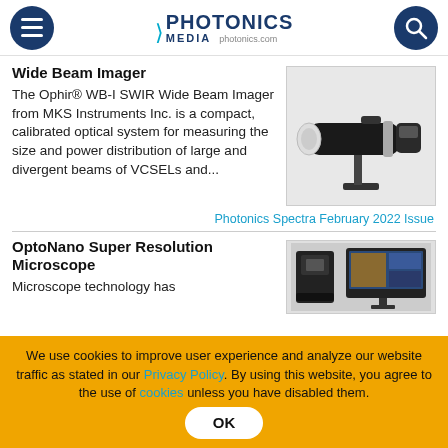Photonics Media photonics.com
Wide Beam Imager
The Ophir® WB-I SWIR Wide Beam Imager from MKS Instruments Inc. is a compact, calibrated optical system for measuring the size and power distribution of large and divergent beams of VCSELs and...
[Figure (photo): Photo of the Ophir WB-I SWIR Wide Beam Imager — a black cylindrical optical instrument mounted on a stand with a white front element]
Photonics Spectra February 2022 Issue
OptoNano Super Resolution Microscope
Microscope technology has
[Figure (photo): Photo of the OptoNano Super Resolution Microscope — a compact microscope unit next to a monitor displaying microscope imagery]
We use cookies to improve user experience and analyze our website traffic as stated in our Privacy Policy. By using this website, you agree to the use of cookies unless you have disabled them.